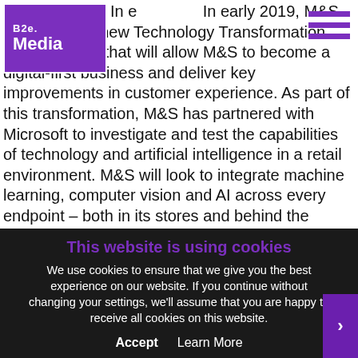[Figure (logo): B2e Media logo — purple square with white text 'B2e' and 'Media', top-left corner]
In early 2019, M&S announced a new Technology Transformation Program, one that will allow M&S to become a digital-first business and deliver key improvements in customer experience. As part of this transformation, M&S has partnered with Microsoft to investigate and test the capabilities of technology and artificial intelligence in a retail environment. M&S will look to integrate machine learning, computer vision and AI across every endpoint – both in its stores and behind the scenes. Every surface, screen and scanner in its stores will create data – and enable employees to act upon it. Every M&S store worldwide will be able to track, manage and replenish st…al with une…
https://twi… https://www.fac…dSpencer
John Lewis/Waitrose
This website is using cookies
We use cookies to ensure that we give you the best experience on our website. If you continue without changing your settings, we'll assume that you are happy to receive all cookies on this website.
Accept    Learn More